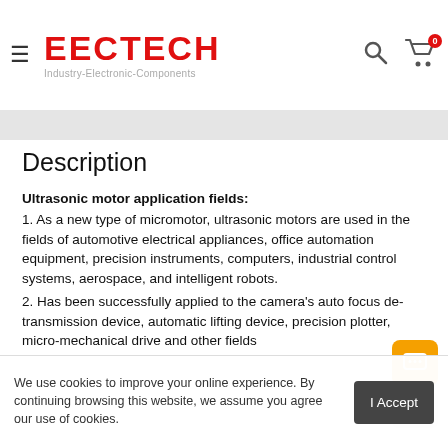EECTECH Industry-Electronic-Components
Description
Ultrasonic motor application fields:
1. As a new type of micromotor, ultrasonic motors are used in the fields of automotive electrical appliances, office automation equipment, precision instruments, computers, industrial control systems, aerospace, and intelligent robots.
2. Has been successfully applied to the camera's auto focus de- transmission device, automatic lifting device, precision plotter, micro-mechanical drive and other fields
EUSM60-1911 technical parameters
| Size | 56.2x78.2x35mm |
| --- | --- |